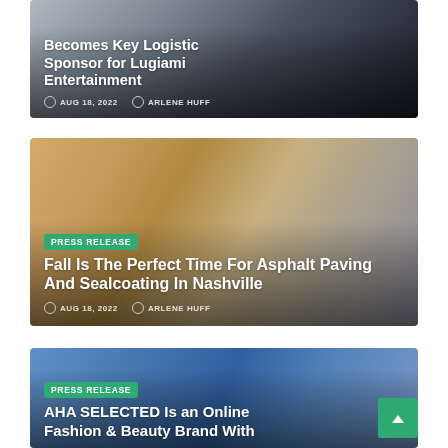[Figure (photo): Article card 1 (partial top): dark office/workspace background. Title: '...Becomes Key Logistic Sponsor for Lugiami Entertainment'. Meta: AUG 18, 2022, ARLENE HUFF.]
[Figure (photo): Article card 2: woman reviewing documents at desk, warm office tones. Badge: PRESS RELEASE. Title: 'Fall Is The Perfect Time For Asphalt Paving And Sealcoating In Nashville'. Meta: AUG 18, 2022, ARLENE HUFF.]
[Figure (photo): Article card 3 (partial bottom): blue-toned background, hands visible. Badge: PRESS RELEASE. Title: 'AHA SELECTED Is an Online Fashion & Beauty Brand With...' (truncated).]